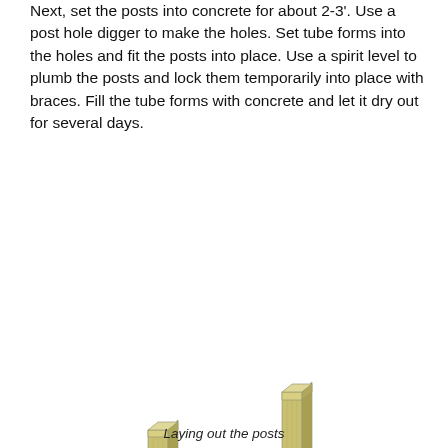Next, set the posts into concrete for about 2-3'. Use a post hole digger to make the holes. Set tube forms into the holes and fit the posts into place. Use a spirit level to plumb the posts and lock them temporarily into place with braces. Fill the tube forms with concrete and let it dry out for several days.
[Figure (engineering-diagram): 3D illustration of two vertical wooden posts set apart, viewed from an angle. Dimension lines at the base show 63 inches and 74 inches spacing. A watermark reads MyOutdoorPlans.com.]
Laying out the posts